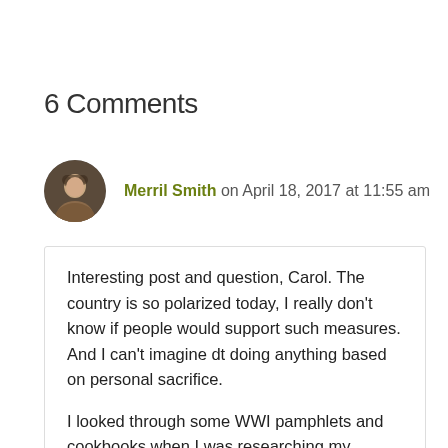6 Comments
Merril Smith on April 18, 2017 at 11:55 am
Interesting post and question, Carol. The country is so polarized today, I really don't know if people would support such measures. And I can't imagine dt doing anything based on personal sacrifice.

I looked through some WWI pamphlets and cookbooks when I was researching my History of American Cooking. As you know, there are many online sources, if people are interested. They are